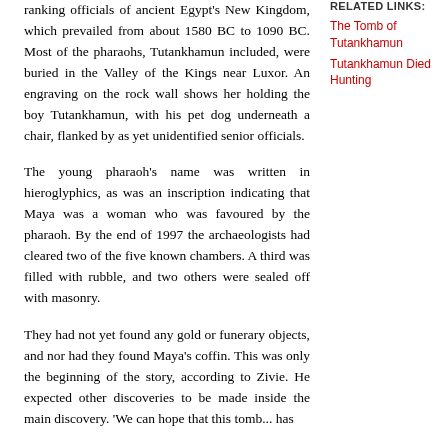ranking officials of ancient Egypt's New Kingdom, which prevailed from about 1580 BC to 1090 BC. Most of the pharaohs, Tutankhamun included, were buried in the Valley of the Kings near Luxor. An engraving on the rock wall shows her holding the boy Tutankhamun, with his pet dog underneath a chair, flanked by as yet unidentified senior officials.
RELATED LINKS:
The Tomb of Tutankhamun
Tutankhamun Died Hunting
The young pharaoh's name was written in hieroglyphics, as was an inscription indicating that Maya was a woman who was favoured by the pharaoh. By the end of 1997 the archaeologists had cleared two of the five known chambers. A third was filled with rubble, and two others were sealed off with masonry.
They had not yet found any gold or funerary objects, and nor had they found Maya's coffin. This was only the beginning of the story, according to Zivie. He expected other discoveries to be made inside the main discovery. 'We can hope that this tomb... has